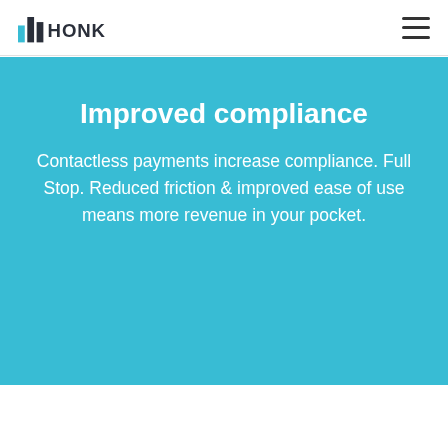HONK [logo] [hamburger menu]
Improved compliance
Contactless payments increase compliance. Full Stop. Reduced friction & improved ease of use means more revenue in your pocket.